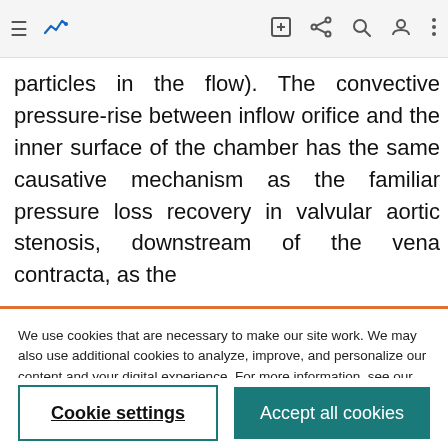[Figure (screenshot): Mobile browser navigation bar with hamburger menu, chart icon (blue), edit icon, share icon, search icon, user icon, and more-options icon]
particles in the flow). The convective pressure-rise between inflow orifice and the inner surface of the chamber has the same causative mechanism as the familiar pressure loss recovery in valvular aortic stenosis, downstream of the vena contracta, as the
We use cookies that are necessary to make our site work. We may also use additional cookies to analyze, improve, and personalize our content and your digital experience. For more information, see our Cookie Policy
Cookie settings
Accept all cookies